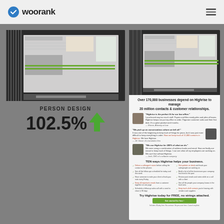[Figure (logo): WooRank logo with blue checkmark icon and bold text 'woorank']
[Figure (screenshot): Screenshot of a website interface shown on left side]
PERSON DESIGN
102.5% ↑
[Figure (screenshot): Screenshot of Highrise website on right panel]
Over 170,000 businesses depend on Highrise to manage 20 million contacts & customer relationships.
TEN ways Highrise helps your business.
Try Highrise today for FREE, no strings attached.